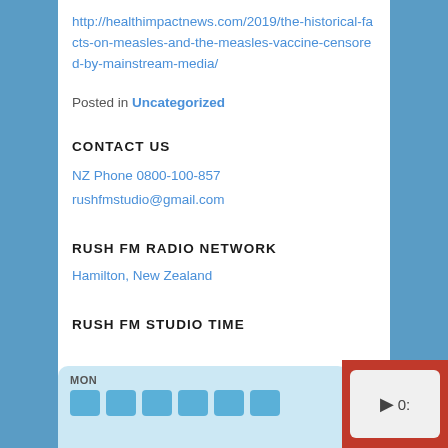http://healthimpactnews.com/2019/the-historical-facts-on-measles-and-the-measles-vaccine-censored-by-mainstream-media/
Posted in Uncategorized
CONTACT US
NZ Phone 0800-100-857
rushfmstudio@gmail.com
RUSH FM RADIO NETWORK
Hamilton, New Zealand
RUSH FM STUDIO TIME
[Figure (screenshot): Calendar widget showing MON with blue day cells]
[Figure (screenshot): Audio player widget with play button and time display showing 0:]